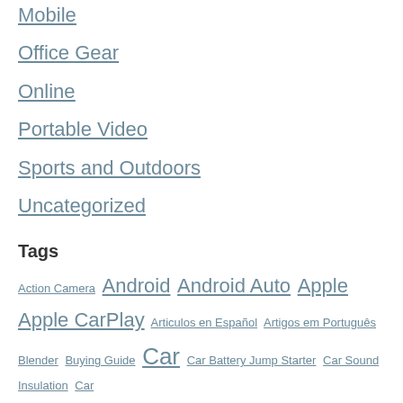Mobile
Office Gear
Online
Portable Video
Sports and Outdoors
Uncategorized
Tags
Action Camera Android Android Auto Apple Apple CarPlay Articulos en Español Artigos em Português Blender Buying Guide Car Car Battery Jump Starter Car Sound Insulation Car ...